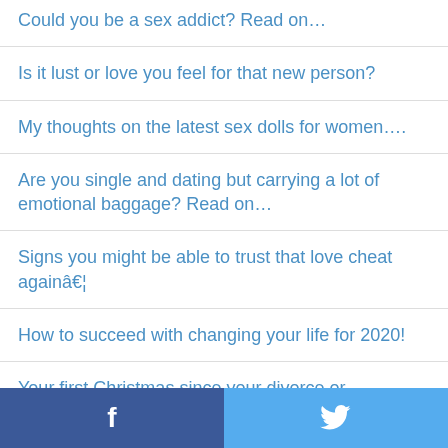Could you be a sex addict? Read on…
Is it lust or love you feel for that new person?
My thoughts on the latest sex dolls for women….
Are you single and dating but carrying a lot of emotional baggage? Read on…
Signs you might be able to trust that love cheat againâ€¦
How to succeed with changing your life for 2020!
Your first Christmas since your divorce or
f  🐦